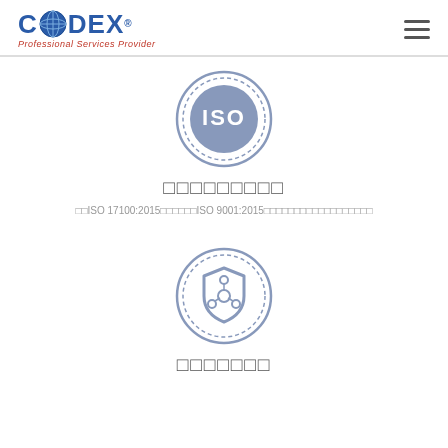[Figure (logo): Codex Professional Services Provider logo with globe icon]
[Figure (illustration): ISO certification circular badge icon in blue/grey tones]
□□□□□□□□□
□□ISO 17100:2015□□□□□□ISO 9001:2015□□□□□□□□□□□□□□□□□□
[Figure (illustration): Shield with connected nodes circular badge icon in blue/grey tones]
□□□□□□□